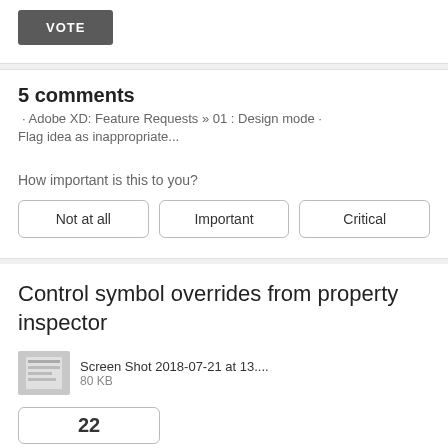[Figure (other): VOTE button, dark grey rectangular button]
5 comments · Adobe XD: Feature Requests » 01 : Design mode ·
Flag idea as inappropriate...
How important is this to you?
Not at all     Important     Critical
Control symbol overrides from property inspector
Screen Shot 2018-07-21 at 13....  80 KB